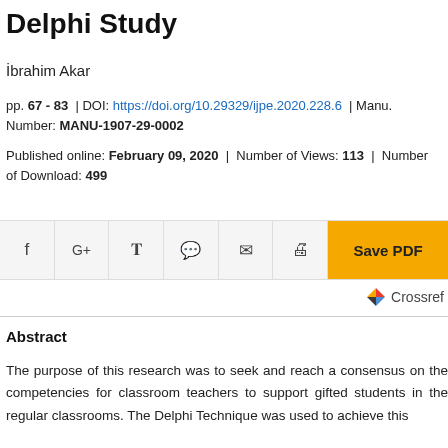Delphi Study
İbrahim Akar
pp. 67 - 83  |  DOI: https://doi.org/10.29329/ijpe.2020.228.6  |  Manu. Number: MANU-1907-29-0002
Published online: February 09, 2020  |  Number of Views: 113  |  Number of Download: 499
[Figure (other): Social share bar with icons for Facebook, Google+, Twitter, WhatsApp, email, print, and a Save PDF button]
[Figure (logo): Crossref logo with colored triangular icon and text 'Crossref']
Abstract
The purpose of this research was to seek and reach a consensus on the competencies for classroom teachers to support gifted students in the regular classrooms. The Delphi Technique was used to achieve this